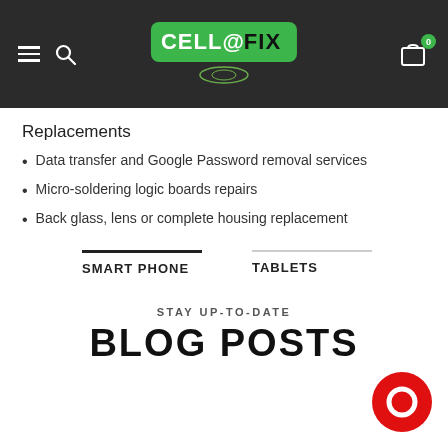[Figure (logo): CELL@FIX logo in dark header navigation bar with hamburger menu, search icon, and cart icon with badge 0]
Replacements
Data transfer and Google Password removal services
Micro-soldering logic boards repairs
Back glass, lens or complete housing replacement
SMART PHONE
TABLETS
STAY UP-TO-DATE
BLOG POSTS